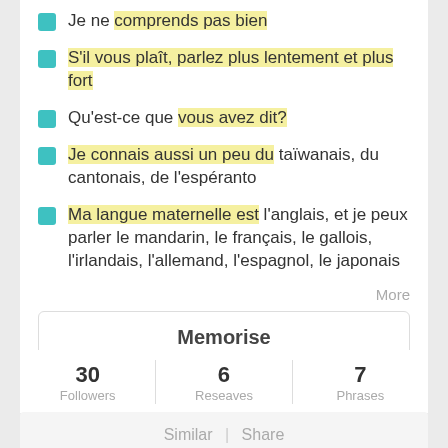Je ne comprends pas bien
S'il vous plaît, parlez plus lentement et plus fort
Qu'est-ce que vous avez dit?
Je connais aussi un peu du taïwanais, du cantonais, de l'espéranto
Ma langue maternelle est l'anglais, et je peux parler le mandarin, le français, le gallois, l'irlandais, l'allemand, l'espagnol, le japonais
More
Memorise
| Followers | Reseaves | Phrases |
| --- | --- | --- |
| 30 | 6 | 7 |
Similar | Share